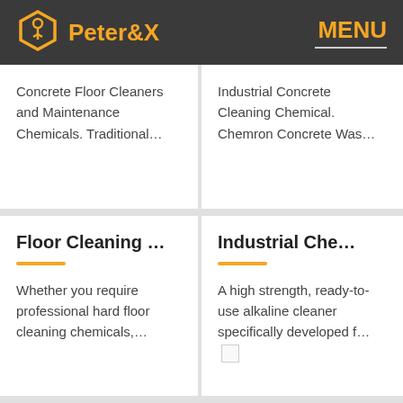Peter&X  MENU
Concrete Floor Cleaners and Maintenance Chemicals. Traditional…
Industrial Concrete Cleaning Chemical. Chemron Concrete Was…
Floor Cleaning …
Whether you require professional hard floor cleaning chemicals,…
Industrial Che…
A high strength, ready-to-use alkaline cleaner specifically developed f…